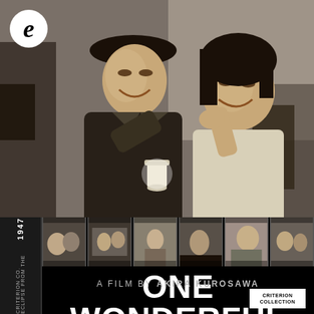[Figure (photo): Black and white film still showing a man in a hat and coat smiling, and a woman smiling beside him, likely from the film 'One Wonderful Sunday' (1947) by Akira Kurosawa. Below is a filmstrip of smaller black and white scene stills.]
ONE WONDERFUL SUNDAY
A FILM BY AKIRA KUROSAWA
1947
ECLIPSE FROM THE CRITERION CO.